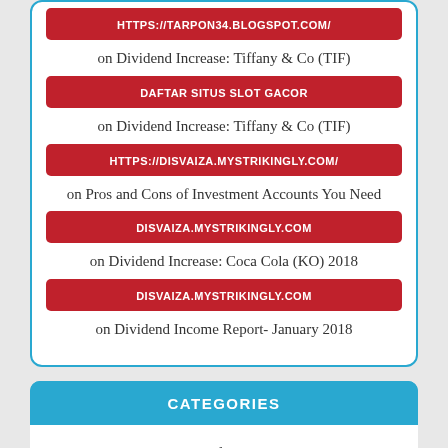HTTPS://TARPON34.BLOGSPOT.COM/
on Dividend Increase: Tiffany & Co (TIF)
DAFTAR SITUS SLOT GACOR
on Dividend Increase: Tiffany & Co (TIF)
HTTPS://DISVAIZA.MYSTRIKINGLY.COM/
on Pros and Cons of Investment Accounts You Need
DISVAIZA.MYSTRIKINGLY.COM
on Dividend Increase: Coca Cola (KO) 2018
DISVAIZA.MYSTRIKINGLY.COM
on Dividend Income Report- January 2018
CATEGORIES
Blog